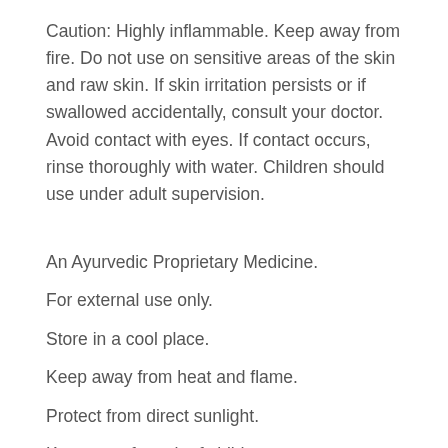Caution: Highly inflammable. Keep away from fire. Do not use on sensitive areas of the skin and raw skin. If skin irritation persists or if swallowed accidentally, consult your doctor. Avoid contact with eyes. If contact occurs, rinse thoroughly with water. Children should use under adult supervision.
An Ayurvedic Proprietary Medicine.
For external use only.
Store in a cool place.
Keep away from heat and flame.
Protect from direct sunlight.
Keep out of reach of children.
Note: To get the safety information, please visit our website for this...